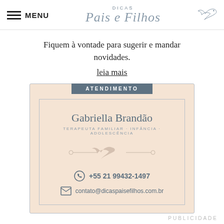MENU | Dicas Pais e Filhos
Fiquem à vontade para sugerir e mandar novidades.
leia mais
[Figure (other): Atendimento card for Gabriella Brandão, Terapeuta Familiar · Infância · Adolescência, with phone +55 21 99432-1497 and email contato@dicaspaisefilhos.com.br]
PUBLICIDADE